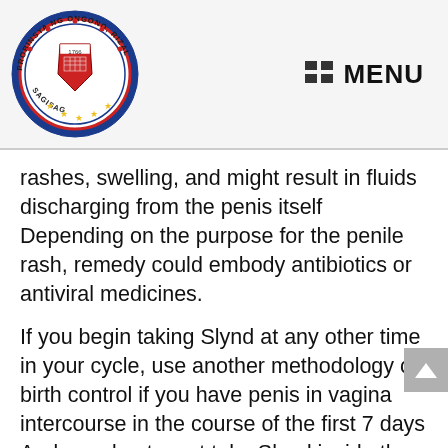[Figure (logo): Circular seal of Rizal province with text 'PROBINSYA NG ONGONO RIZAL' and 'SAGISAG' around the border, featuring a red shield with buildings and stars at the bottom, dated 1766]
MENU
rashes, swelling, and might result in fluids discharging from the penis itself Depending on the purpose for the penile rash, remedy could embody antibiotics or antiviral medicines.
If you begin taking Slynd at any other time in your cycle, use another methodology of birth control if you have penis in vagina intercourse in the course of the first 7 days And you don t must take Slynd inside the same 3 hours every day, such as you do with different progestin only tablets. The probes about taken can be done